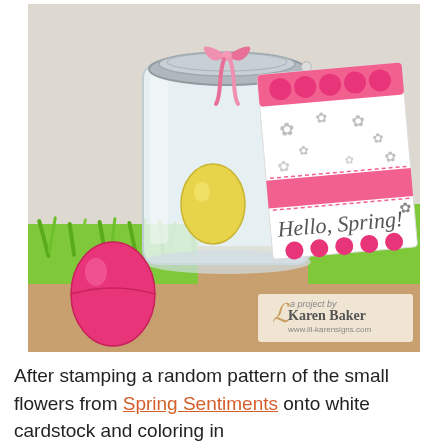[Figure (photo): A glass mason jar with a metal lid, containing colorful Easter eggs (yellow visible inside), surrounded by bright green Easter grass. A pink plastic Easter egg sits in front of the jar. Attached to the jar's neck with a pink ribbon bow is a decorative gift tag featuring small flower stamps and the text 'Hello, Spring!' in a handwritten style. A watermark in the lower right reads 'a project by Karen Baker www.lil-karensigns.com'.]
After stamping a random pattern of the small flowers from Spring Sentiments onto white cardstock and coloring in